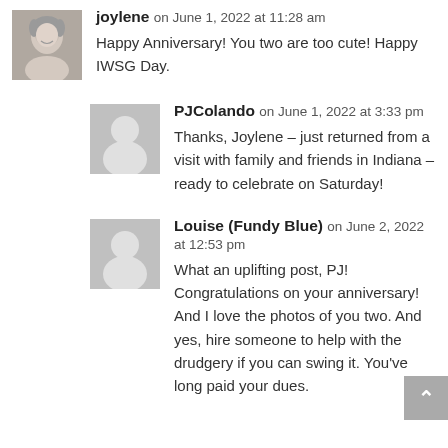joylene on June 1, 2022 at 11:28 am — Happy Anniversary! You two are too cute! Happy IWSG Day.
PJColando on June 1, 2022 at 3:33 pm — Thanks, Joylene – just returned from a visit with family and friends in Indiana – ready to celebrate on Saturday!
Louise (Fundy Blue) on June 2, 2022 at 12:53 pm — What an uplifting post, PJ! Congratulations on your anniversary! And I love the photos of you two. And yes, hire someone to help with the drudgery if you can swing it. You've long paid your dues.